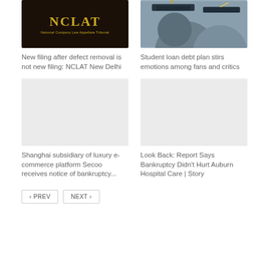[Figure (photo): NCLAT logo on dark background with text 'National Company Law Appellate Tribunal']
[Figure (photo): Students in graduation caps and gowns]
New filing after defect removal is not new filing: NCLAT New Delhi
Student loan debt plan stirs emotions among fans and critics
[Figure (photo): Placeholder image (light gray)]
[Figure (photo): Placeholder image (light gray)]
Shanghai subsidiary of luxury e-commerce platform Secoo receives notice of bankruptcy...
Look Back: Report Says Bankruptcy Didn't Hurt Auburn Hospital Care | Story